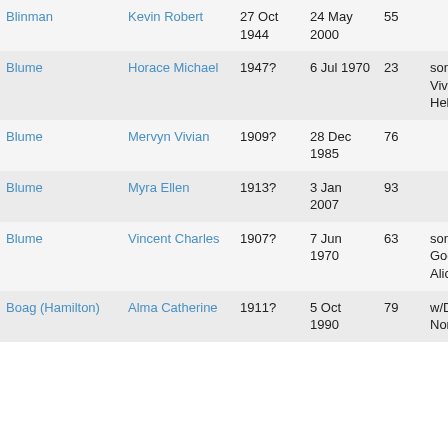| Last Name | First Name | Born | Died | Age | Notes |
| --- | --- | --- | --- | --- | --- |
| Blinman | Kevin Robert | 27 Oct 1944 | 24 May 2000 | 55 |  |
| Blume | Horace Michael | 1947? | 6 Jul 1970 | 23 | son/Mervyn Vivian & Marie Helen |
| Blume | Mervyn Vivian | 1909? | 28 Dec 1985 | 76 |  |
| Blume | Myra Ellen | 1913? | 3 Jan 2007 | 93 |  |
| Blume | Vincent Charles | 1907? | 7 Jun 1970 | 63 | son/Charles Godfrey & Alice (Norris) |
| Boag (Hamilton) | Alma Catherine | 1911? | 5 Oct 1990 | 79 | w/David Norman |